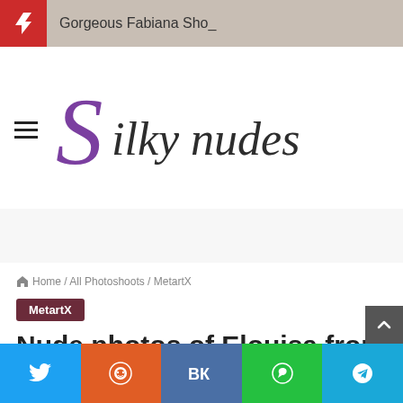Gorgeous Fabiana Sho_
[Figure (logo): Silky Nudes website logo with stylized purple S and cursive text]
Home / All Photoshoots / MetartX
MetartX
Nude photos of Elouisa from MetartX (Before My Shoot 1)
MetartX